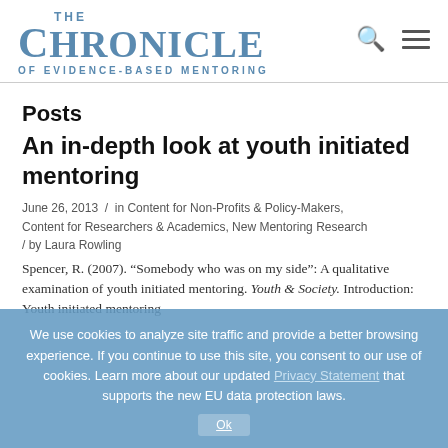THE CHRONICLE OF EVIDENCE-BASED MENTORING
Posts
An in-depth look at youth initiated mentoring
June 26, 2013 / in Content for Non-Profits & Policy-Makers, Content for Researchers & Academics, New Mentoring Research / by Laura Rowling
Spencer, R. (2007). "Somebody who was on my side": A qualitative examination of youth initiated mentoring. Youth & Society. Introduction: Youth initiated mentoring
We use cookies to analyze site traffic and provide a better browsing experience. If you continue to use this site, you consent to our use of cookies. Learn more about our updated Privacy Statement that supports the new EU data protection laws.